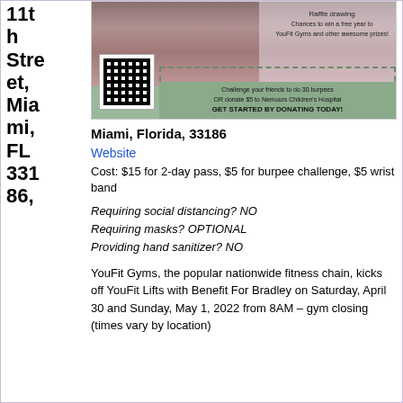11th Street, Miami, FL 33186,
[Figure (photo): Event flyer image showing people in a gym setting with a QR code, raffle drawing information, and a green banner with text 'Challenge your friends to do 30 burpees OR donate $5 to Nemours Children's Hospital GET STARTED BY DONATING TODAY!']
Miami, Florida, 33186
Website
Cost: $15 for 2-day pass, $5 for burpee challenge, $5 wrist band
Requiring social distancing? NO
Requiring masks? OPTIONAL
Providing hand sanitizer? NO
YouFit Gyms, the popular nationwide fitness chain, kicks off YouFit Lifts with Benefit For Bradley on Saturday, April 30 and Sunday, May 1, 2022 from 8AM – gym closing (times vary by location)